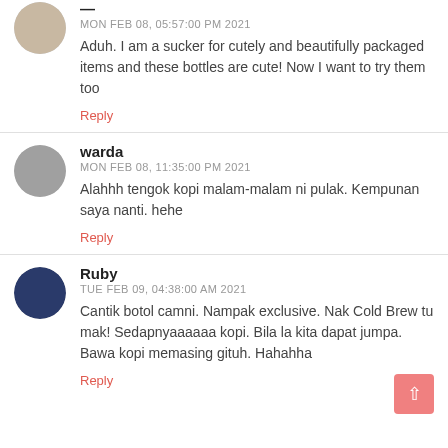MON FEB 08, 05:57:00 PM 2021
Aduh. I am a sucker for cutely and beautifully packaged items and these bottles are cute! Now I want to try them too
Reply
warda
MON FEB 08, 11:35:00 PM 2021
Alahhh tengok kopi malam-malam ni pulak. Kempunan saya nanti. hehe
Reply
Ruby
TUE FEB 09, 04:38:00 AM 2021
Cantik botol camni. Nampak exclusive. Nak Cold Brew tu mak! Sedapnyaaaaaa kopi. Bila la kita dapat jumpa. Bawa kopi memasing gituh. Hahahha
Reply